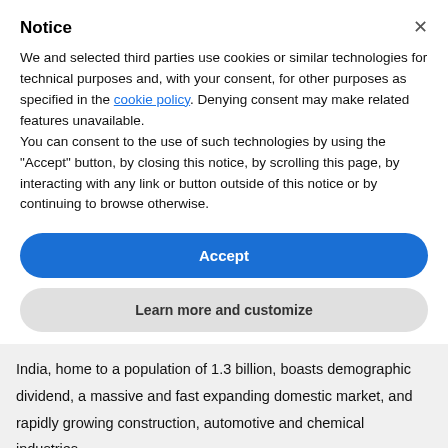Notice
We and selected third parties use cookies or similar technologies for technical purposes and, with your consent, for other purposes as specified in the cookie policy. Denying consent may make related features unavailable.
You can consent to the use of such technologies by using the “Accept” button, by closing this notice, by scrolling this page, by interacting with any link or button outside of this notice or by continuing to browse otherwise.
Accept
Learn more and customize
India, home to a population of 1.3 billion, boasts demographic dividend, a massive and fast expanding domestic market, and rapidly growing construction, automotive and chemical industries.